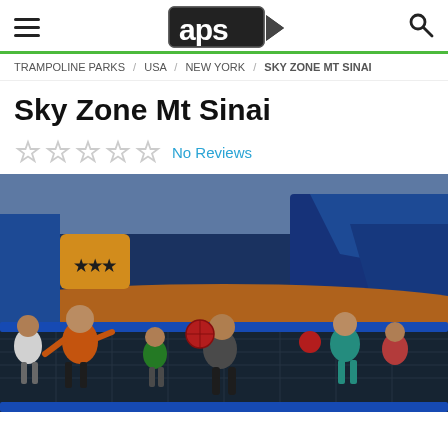APS (logo) — hamburger menu and search icon
TRAMPOLINE PARKS / USA / NEW YORK / SKY ZONE MT SINAI
Sky Zone Mt Sinai
No Reviews
[Figure (photo): Children playing dodgeball on trampolines inside Sky Zone Mt Sinai trampoline park. The facility has blue padded walls, orange trim, and a large open trampoline floor. Several kids are mid-jump or running, with red dodgeballs visible.]